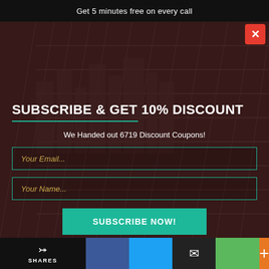Get 5 minutes free on every call
[Figure (screenshot): City bridge cables background image with dark red overlay, showing subscribe modal with close button]
SUBSCRIBE & GET 10% DISCOUNT
We Handed out 6719 Discount Coupons!
Your Email...
Your Name...
SUBSCRIBE NOW!
SHARES